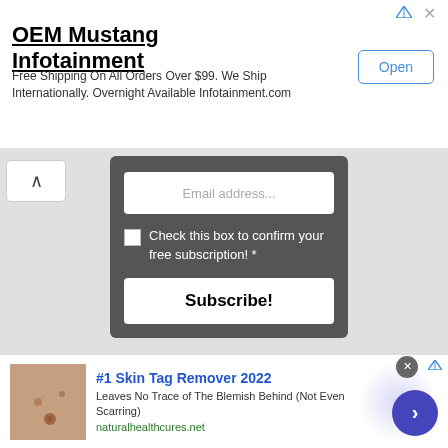[Figure (screenshot): Advertisement banner for OEM Mustang Infotainment with Open button]
OEM Mustang Infotainment
Free Shipping On All Orders Over $99. We Ship Internationally. Overnight Available Infotainment.com
[Figure (screenshot): Email subscription box with dark background, email input field, checkbox for confirmation, and Subscribe button. Promoted tag with X.]
Email address...
Check this box to confirm your free subscription! *
Subscribe!
Promoted
[Figure (photo): Fitness and spices collage image on the left, dental implant illustration on the right]
[Figure (screenshot): Bottom ad: #1 Skin Tag Remover 2022 advertisement with thumbnail image, description text, and navigation arrow]
#1 Skin Tag Remover 2022
Leaves No Trace of The Blemish Behind (Not Even Scarring)
naturalhealthcures.net